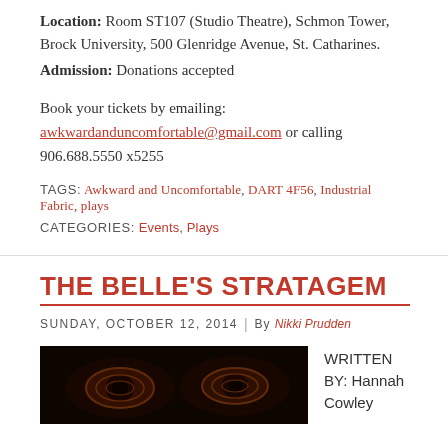Location: Room ST107 (Studio Theatre), Schmon Tower, Brock University, 500 Glenridge Avenue, St. Catharines.
Admission: Donations accepted
Book your tickets by emailing: awkwardanduncomfortable@gmail.com or calling 906.688.5550 x5255
TAGS: Awkward and Uncomfortable, DART 4F56, Industrial Fabric, plays
CATEGORIES: Events, Plays
THE BELLE'S STRATAGEM
SUNDAY, OCTOBER 12, 2014 | By Nikki Prudden
[Figure (photo): Dark image with glowing circular patterns resembling eyes or peacock feathers on a very dark background]
WRITTEN BY: Hannah Cowley